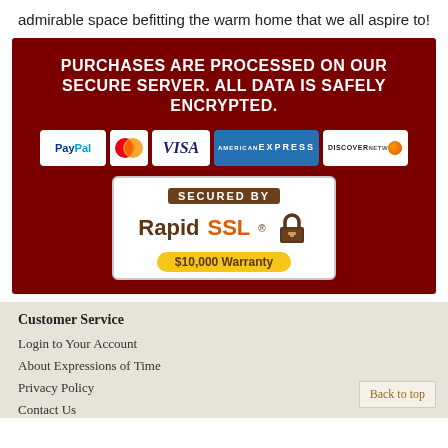admirable space befitting the warm home that we all aspire to!
[Figure (infographic): Dark red banner with white bold text: PURCHASES ARE PROCESSED ON OUR SECURE SERVER. ALL DATA IS SAFELY ENCRYPTED. Below are payment icons: PayPal, MasterCard, VISA, American Express, Discover. Below those is a RapidSSL secured badge with $10,000 Warranty.]
Customer Service
Login to Your Account
About Expressions of Time
Privacy Policy
Contact Us
Back to top